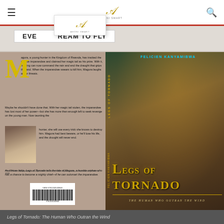≡  [Ahoni Smart logo]  🔍
[Figure (screenshot): Website screenshot showing navigation bar with hamburger menu, Ahoni Smart logo, search icon, a banner tab reading 'EVERY DREAM TO FLY', floating logo overlay, and a book cover display for 'Legs of Tornado: The Human Who Outran the Wind' by Felicien Kanyamibwa]
M agura, a young hunter in the Kingdom of Rwanda, has tracked the elusive imparandwe and claimed her magic tail as his prize. With it, his king can now command the rain and end the draught that grips the land. When the imparandwe swears to kill him, Magura laughs at her threats.
Maybe he shouldn't have done that. With her magic tail stolen, the imparandwe has lost most of her power—but she has more than enough left to seek revenge on the young man. Now taunting the hunter, she will use every trick she knows to destroy him. Magura had best beware, or he'll lose his life, and the drought will never end.
An African fable, Legs of Tornado tells the tale of Magura, a humble orphan who has a chance to become a mighty chief—if he can outsmart the imparandwe.
Photo: Felicien Kanyamibwa, a.k.a Ajoni, with his mother, Esther Nyirabucakara, in Rwanda, on October 4, 1968
FELICIEN KANYAMIBWA
LEGS OF TORNADO
THE HUMAN WHO OUTRAN THE WIND
Legs of Tornado: The Human Who Outran the Wind